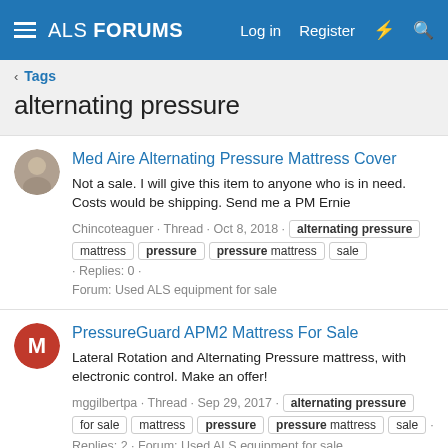ALS FORUMS  Log in  Register
alternating pressure
Tags
Med Aire Alternating Pressure Mattress Cover
Not a sale. I will give this item to anyone who is in need. Costs would be shipping. Send me a PM Ernie
Chincoteaguer · Thread · Oct 8, 2018 · alternating pressure  mattress  pressure  pressure mattress  sale · Replies: 0 · Forum: Used ALS equipment for sale
PressureGuard APM2 Mattress For Sale
Lateral Rotation and Alternating Pressure mattress, with electronic control. Make an offer!
mggilbertpa · Thread · Sep 29, 2017 · alternating pressure  for sale  mattress  pressure  pressure mattress  sale · Replies: 2 · Forum: Used ALS equipment for sale
Alternating pressure mattress